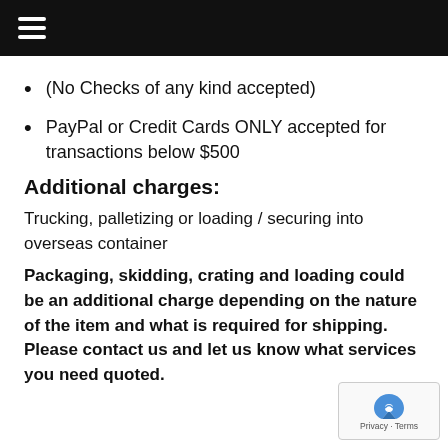(No Checks of any kind accepted)
PayPal or Credit Cards ONLY accepted for transactions below $500
Additional charges:
Trucking, palletizing or loading / securing into overseas container
Packaging, skidding, crating and loading could be an additional charge depending on the nature of the item and what is required for shipping. Please contact us and let us know what services you need quoted.